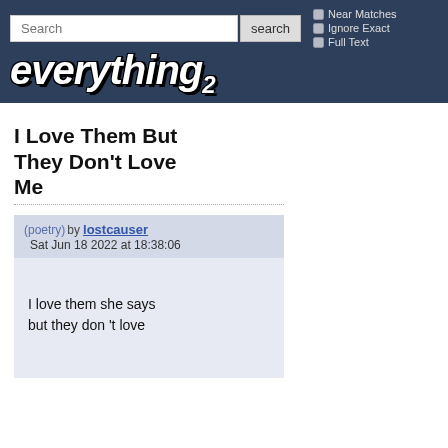Search | search | Near Matches | Ignore Exact | Full Text | everything2
I Love Them But They Don't Love Me
(poetry) by lostcauser  Sat Jun 18 2022 at 18:38:06
I love them she says
but they don 't love